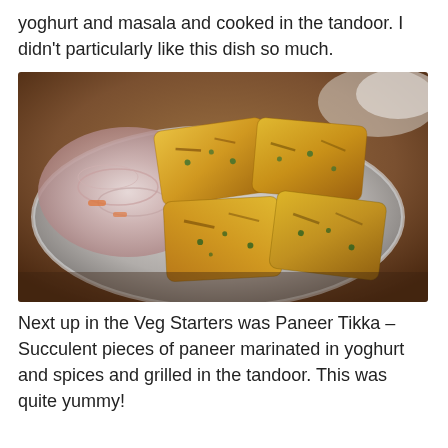yoghurt and masala and cooked in the tandoor. I didn't particularly like this dish so much.
[Figure (photo): A silver/steel oval plate with grilled paneer tikka pieces (golden-yellow colored, charred, garnished with herbs) and a side of sliced onion and carrot salad, served on a red-brown table mat.]
Next up in the Veg Starters was Paneer Tikka – Succulent pieces of paneer marinated in yoghurt and spices and grilled in the tandoor. This was quite yummy!